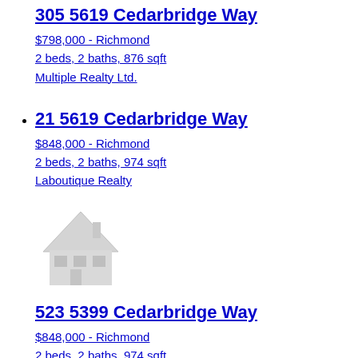305 5619 Cedarbridge Way
$798,000 - Richmond
2 beds, 2 baths, 876 sqft
Multiple Realty Ltd.
21 5619 Cedarbridge Way
$848,000 - Richmond
2 beds, 2 baths, 974 sqft
Laboutique Realty
523 5399 Cedarbridge Way
$848,000 - Richmond
2 beds, 2 baths, 974 sqft